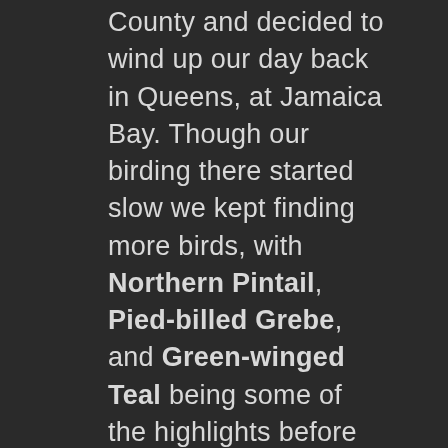County and decided to wind up our day back in Queens, at Jamaica Bay. Though our birding there started slow we kept finding more birds, with Northern Pintail, Pied-billed Grebe, and Green-winged Teal being some of the highlights before we got to the really good birds.  Eventually we ran into the Brooklyn Bird Club out on a field trip and they showed us the Eared Grebe that has been around for awhile that we had inexplicably missed earlier.  Then we headed over to the East Pond, stopping at Big John's Pond en route